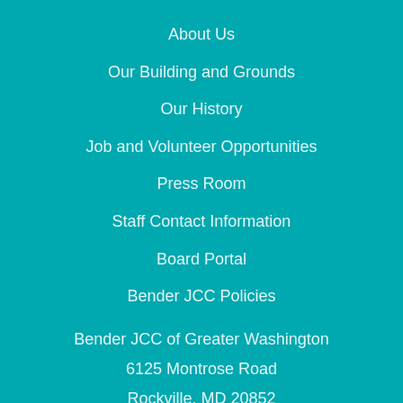About Us
Our Building and Grounds
Our History
Job and Volunteer Opportunities
Press Room
Staff Contact Information
Board Portal
Bender JCC Policies
Bender JCC of Greater Washington
6125 Montrose Road
Rockville, MD 20852